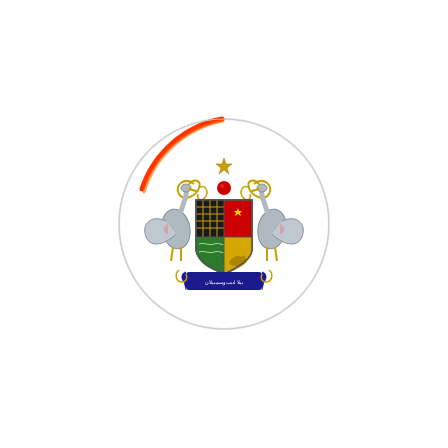[Figure (logo): Circular badge/logo featuring a Malaysian state coat of arms. The circle has a thin red-orange arc on the upper-left portion of the border. Inside the white circle is a heraldic coat of arms with two herons or cranes as supporters on each side, a central shield divided into quarters with a black lattice/grid, red field with crescent and star, green and yellow/gold lower quarters, flanked by ornate gold scrollwork at the top with a crescent moon and star above, and a blue banner at the bottom with Arabic/Malay script inscription. The overall design appears to be the coat of arms of Negeri Sembilan or a similar Malaysian state.]